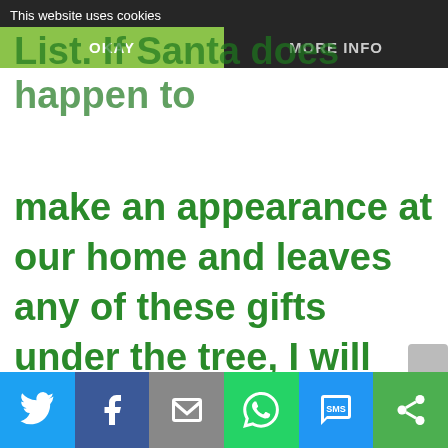This website uses cookies
List. If Santa does happen to make an appearance at our home and leaves any of these gifts under the tree, I will definitely be following up with reviews of these gifts after Christmas!  I wish each
Social share buttons: Twitter, Facebook, Email, WhatsApp, SMS, Share